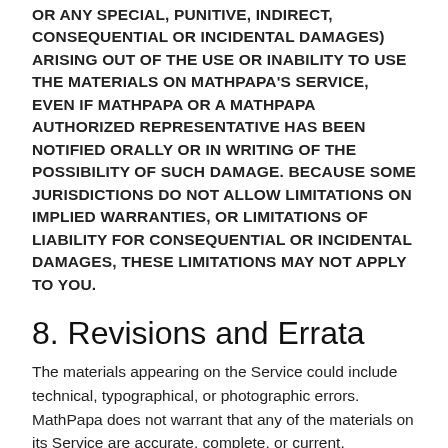OR ANY SPECIAL, PUNITIVE, INDIRECT, CONSEQUENTIAL OR INCIDENTAL DAMAGES) ARISING OUT OF THE USE OR INABILITY TO USE THE MATERIALS ON MATHPAPA'S SERVICE, EVEN IF MATHPAPA OR A MATHPAPA AUTHORIZED REPRESENTATIVE HAS BEEN NOTIFIED ORALLY OR IN WRITING OF THE POSSIBILITY OF SUCH DAMAGE. BECAUSE SOME JURISDICTIONS DO NOT ALLOW LIMITATIONS ON IMPLIED WARRANTIES, OR LIMITATIONS OF LIABILITY FOR CONSEQUENTIAL OR INCIDENTAL DAMAGES, THESE LIMITATIONS MAY NOT APPLY TO YOU.
8. Revisions and Errata
The materials appearing on the Service could include technical, typographical, or photographic errors. MathPapa does not warrant that any of the materials on its Service are accurate, complete, or current. MathPapa may make changes to the materials contained on its Service at any